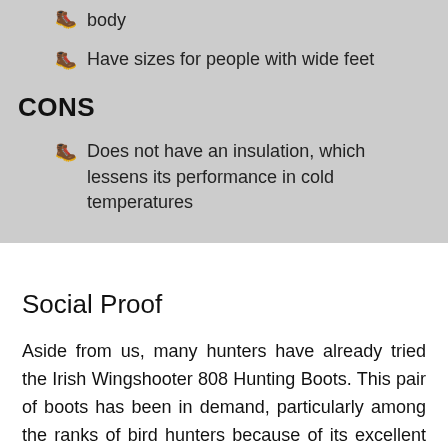body
Have sizes for people with wide feet
CONS
Does not have an insulation, which lessens its performance in cold temperatures
Social Proof
Aside from us, many hunters have already tried the Irish Wingshooter 808 Hunting Boots. This pair of boots has been in demand, particularly among the ranks of bird hunters because of its excellent quality and materials. If you look at online retail stores, you can